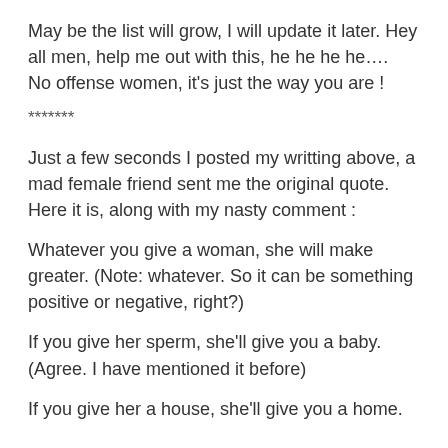May be the list will grow, I will update it later. Hey all men, help me out with this, he he he he….
No offense women, it's just the way you are !
*******
Just a few seconds I posted my writting above, a mad female friend sent me the original quote. Here it is, along with my nasty comment :
Whatever you give a woman, she will make greater. (Note: whatever. So it can be something positive or negative, right?)
If you give her sperm, she'll give you a baby.
(Agree. I have mentioned it before)
If you give her a house, she'll give you a home.